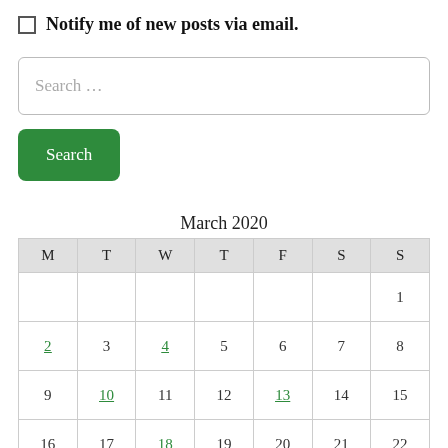Notify me of new posts via email.
[Figure (screenshot): Search input box with placeholder text 'Search ...']
[Figure (screenshot): Green Search button]
March 2020
| M | T | W | T | F | S | S |
| --- | --- | --- | --- | --- | --- | --- |
|  |  |  |  |  |  | 1 |
| 2 | 3 | 4 | 5 | 6 | 7 | 8 |
| 9 | 10 | 11 | 12 | 13 | 14 | 15 |
| 16 | 17 | 18 | 19 | 20 | 21 | 22 |
|  |  |  |  |  |  |  |